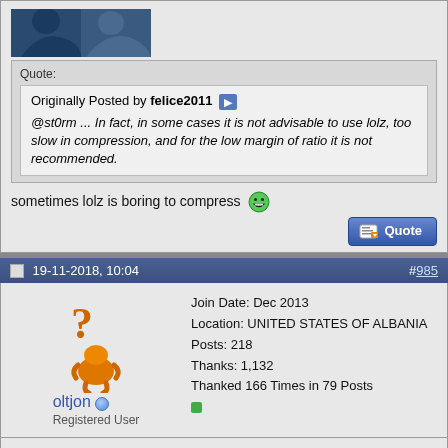[Figure (illustration): Forum user avatar or banner image, blue/dark graphic partially visible]
Quote: Originally Posted by felice2011 @st0rm ... In fact, in some cases it is not advisable to use lolz, too slow in compression, and for the low margin of ratio it is not recommended.
sometimes lolz is boring to compress
19-11-2018, 10:04 #985
Join Date: Dec 2013
Location: UNITED STATES OF ALBANIA
Posts: 218
Thanks: 1,132
Thanked 166 Times in 79 Posts
oltjon
Registered User
Sunset Overdrive

game size 28 Gb
compressed game size 16.8 Gb